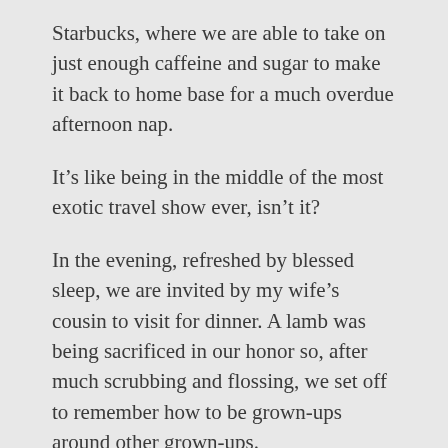Starbucks, where we are able to take on just enough caffeine and sugar to make it back to home base for a much overdue afternoon nap.
It’s like being in the middle of the most exotic travel show ever, isn’t it?
In the evening, refreshed by blessed sleep, we are invited by my wife’s cousin to visit for dinner. A lamb was being sacrificed in our honor so, after much scrubbing and flossing, we set off to remember how to be grown-ups around other grown-ups.
We made our way to the Castro district and I guess that this is how I imagined San Francisco to